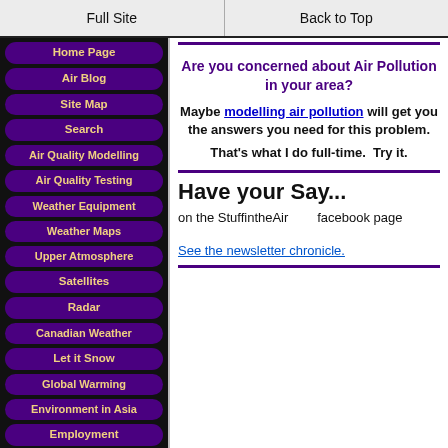Full Site | Back to Top
Home Page
Air Blog
Site Map
Search
Air Quality Modelling
Air Quality Testing
Weather Equipment
Weather Maps
Upper Atmosphere
Satellites
Radar
Canadian Weather
Let it Snow
Global Warming
Environment in Asia
Employment
Are you concerned about Air Pollution in your area?
Maybe modelling air pollution will get you the answers you need for this problem.
That's what I do full-time.  Try it.
Have your Say...
on the StuffintheAir       facebook page
See the newsletter chronicle.